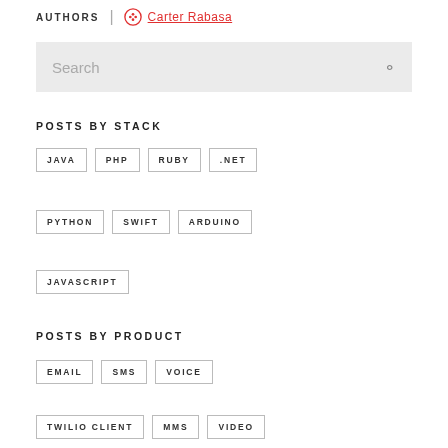AUTHORS | Carter Rabasa
Search
POSTS BY STACK
JAVA
PHP
RUBY
.NET
PYTHON
SWIFT
ARDUINO
JAVASCRIPT
POSTS BY PRODUCT
EMAIL
SMS
VOICE
TWILIO CLIENT
MMS
VIDEO